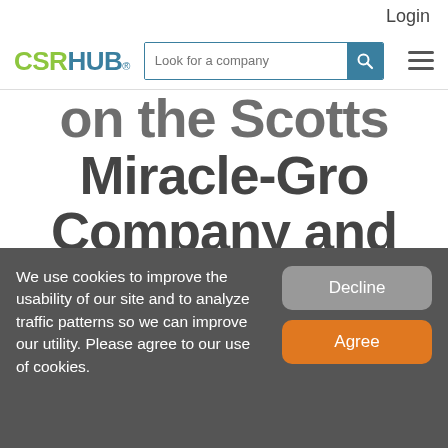Login
[Figure (logo): CSRHUB logo with search bar and hamburger menu navigation]
on the Scotts Miracle-Gro Company and some
We use cookies to improve the usability of our site and to analyze traffic patterns so we can improve our utility. Please agree to our use of cookies.